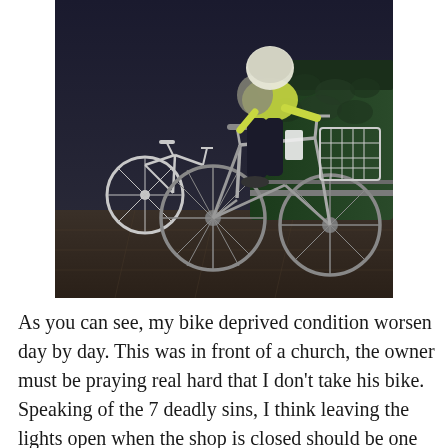[Figure (photo): A person in a yellow jacket and dark pants sitting on a city bicycle with a front basket, photographed at night on a paved sidewalk. A white bicycle is visible in the background along with green hedges.]
As you can see, my bike deprived condition worsen day by day. This was in front of a church, the owner must be praying real hard that I don't take his bike. Speaking of the 7 deadly sins, I think leaving the lights open when the shop is closed should be one of it. I mean, it's so mean to do that to people when